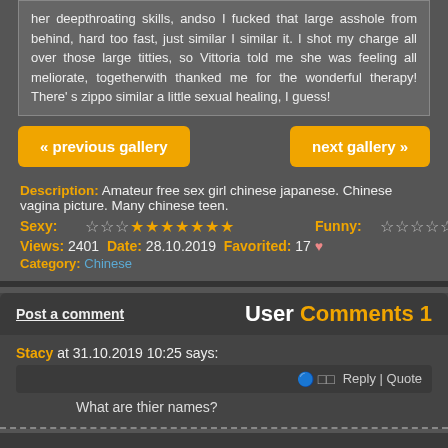her deepthroating skills, andso I fucked that large asshole from behind, hard too fast, just similar I similar it. I shot my charge all over those large titties, so Vittoria told me she was feeling all meliorate, togetherwith thanked me for the wonderful therapy! There' s zippo similar a little sexual healing, I guess!
« previous gallery
next gallery »
Description: Amateur free sex girl chinese japanese. Chinese vagina picture. Many chinese teen.
Sexy: ☆☆☆★★★★★★★ Funny: ☆☆☆☆☆☆☆★★★
Views: 2401 Date: 28.10.2019 Favorited: 17 ♥ Category: Chinese
Post a comment
User Comments 1
Stacy at 31.10.2019 10:25 says:
Reply | Quote
What are thier names?
More Photos